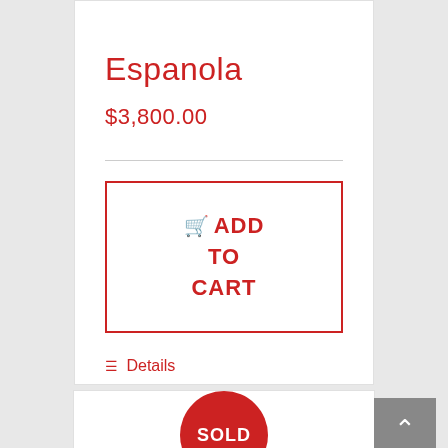Espanola
$3,800.00
ADD TO CART
Details
[Figure (other): Red SOLD badge circle partially visible at bottom of second product card]
[Figure (other): Gray back-to-top button with upward arrow chevron]